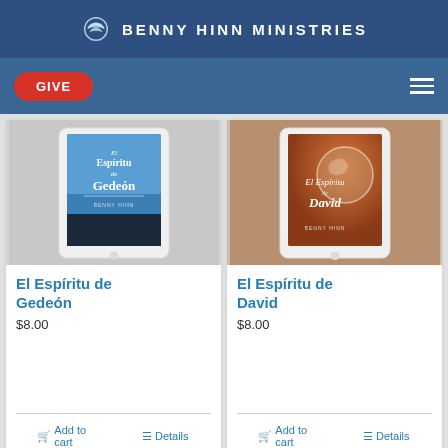BENNY HINN MINISTRIES
[Figure (screenshot): Navigation bar with red GIVE button and hamburger menu on blue background]
[Figure (photo): Tablet displaying book cover 'El Espíritu de Gedeón' by Benny Hinn — blue sky with person silhouette]
El Espíritu de Gedeón
$8.00
Add to cart
Details
[Figure (photo): Tablet displaying book cover 'El Espíritu de David' by Benny Hinn — warm brown/orange tones with glass sphere]
El Espíritu de David
$8.00
Add to cart
Details